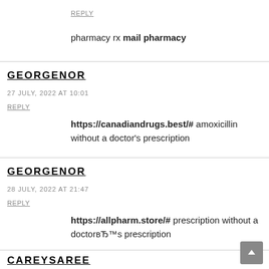REPLY
pharmacy rx mail pharmacy
GEORGENOR
27 JULY, 2022 AT 10:01
REPLY
https://canadiandrugs.best/# amoxicillin without a doctor's prescription
GEORGENOR
28 JULY, 2022 AT 21:47
REPLY
https://allpharm.store/# prescription without a doctorвЂ™s prescription
CAREYSAREE